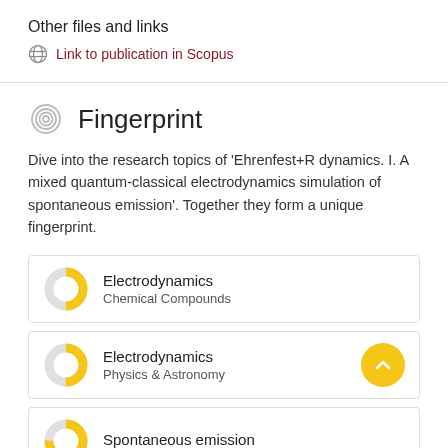Other files and links
Link to publication in Scopus
Fingerprint
Dive into the research topics of 'Ehrenfest+R dynamics. I. A mixed quantum-classical electrodynamics simulation of spontaneous emission'. Together they form a unique fingerprint.
Electrodynamics – Chemical Compounds
Electrodynamics – Physics & Astronomy
Spontaneous emission